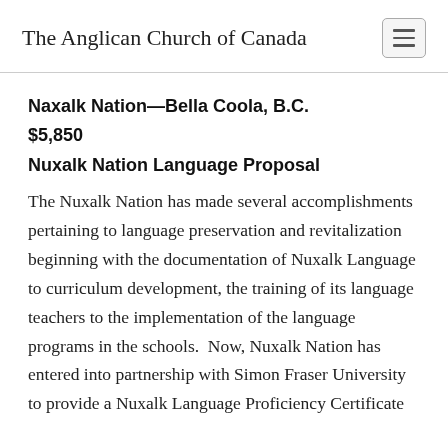The Anglican Church of Canada
Naxalk Nation—Bella Coola, B.C.
$5,850
Nuxalk Nation Language Proposal
The Nuxalk Nation has made several accomplishments pertaining to language preservation and revitalization beginning with the documentation of Nuxalk Language to curriculum development, the training of its language teachers to the implementation of the language programs in the schools.  Now, Nuxalk Nation has entered into partnership with Simon Fraser University to provide a Nuxalk Language Proficiency Certificate